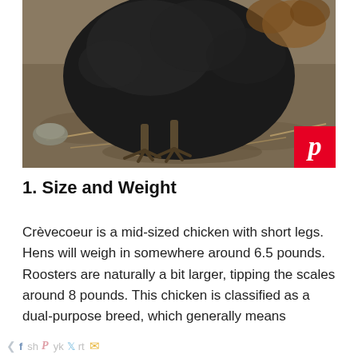[Figure (photo): Close-up photo of a black chicken (Crèvecoeur breed) standing on bare dirt ground with straw/twigs visible. The bird's dark feathers fill most of the frame, with its scaly feet and claws visible. A red Pinterest save button badge appears in the bottom-right corner of the image.]
1. Size and Weight
Crèvecoeur is a mid-sized chicken with short legs. Hens will weigh in somewhere around 6.5 pounds. Roosters are naturally a bit larger, tipping the scales around 8 pounds. This chicken is classified as a dual-purpose breed, which generally means